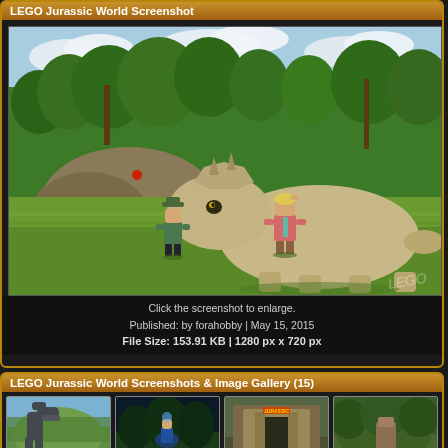LEGO Jurassic World Screenshot
[Figure (screenshot): LEGO Jurassic World game screenshot showing LEGO minifigures (a character in pink shirt with teal tie and another in green hat) standing near a large beige triceratops dinosaur in a jungle/grassland environment with tropical trees in the background.]
Click the screenshot to enlarge.
Published: by forahobby | May 15, 2015
File Size: 153.91 KB | 1280 px x 720 px
LEGO Jurassic World Screenshots & Image Gallery (15)
[Figure (screenshot): Thumbnail 1: LEGO Jurassic World screenshot thumbnail showing a dinosaur scene]
[Figure (screenshot): Thumbnail 2: LEGO Jurassic World screenshot thumbnail with jungle/night scene]
[Figure (screenshot): Thumbnail 3: LEGO Jurassic World screenshot thumbnail showing gate/entrance]
[Figure (screenshot): Thumbnail 4: LEGO Jurassic World screenshot thumbnail partially visible]